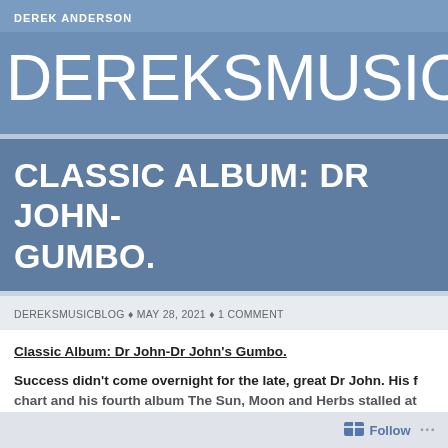DEREK ANDERSON
DEREKSMUSICBLO
CLASSIC ALBUM: DR JOHN-GUMBO.
DEREKSMUSICBLOG ♦ MAY 28, 2021 ♦ 1 COMMENT
Classic Album: Dr John-Dr John's Gumbo.
Success didn't come overnight for the late, great Dr John. His f... chart and his fourth album The Sun, Moon and Herbs stalled at...